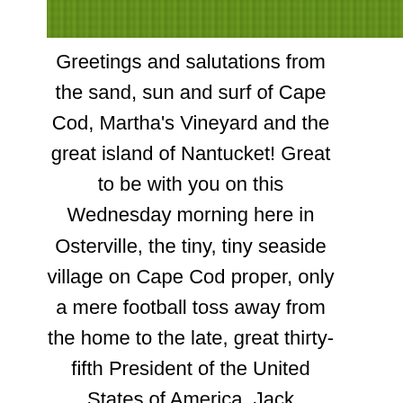[Figure (photo): A strip of green grass/field photo at the top of the page]
Greetings and salutations from the sand, sun and surf of Cape Cod, Martha's Vineyard and the great island of Nantucket! Great to be with you on this Wednesday morning here in Osterville, the tiny, tiny seaside village on Cape Cod proper, only a mere football toss away from the home to the late, great thirty-fifth President of the United States of America, Jack